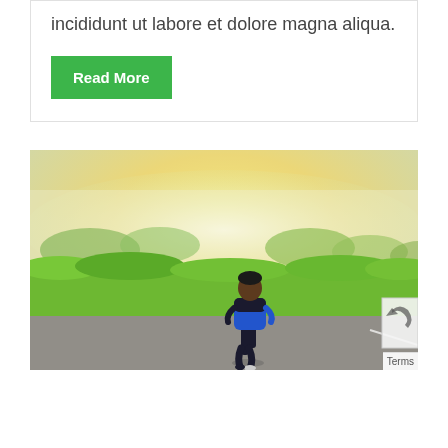incididunt ut labore et dolore magna aliqua.
Read More
[Figure (photo): A man in a blue and black tracksuit running on a road outdoors, with bright green grass and a misty, golden-lit background.]